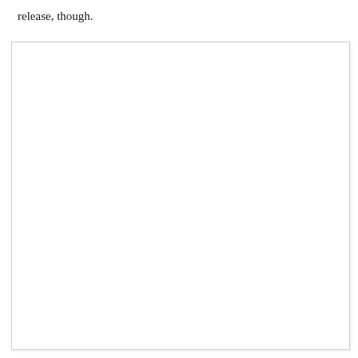release, though.
[Figure (other): Large white blank rectangular area with a light border, appearing to be an empty image or placeholder figure.]